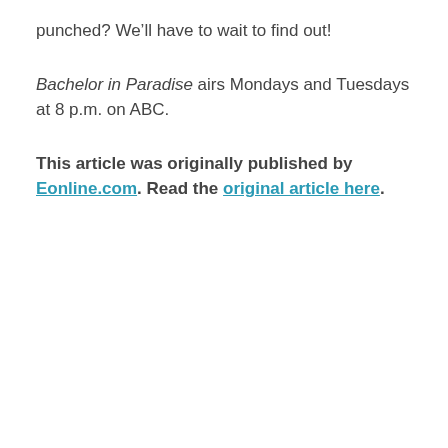punched? We’ll have to wait to find out!
Bachelor in Paradise airs Mondays and Tuesdays at 8 p.m. on ABC.
This article was originally published by Eonline.com. Read the original article here.